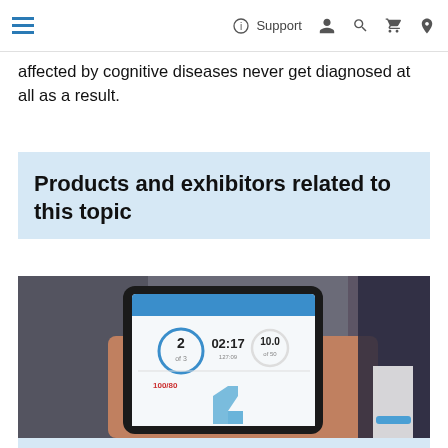≡  ⓘ Support  👤  🔍  🛒  🌐
affected by cognitive diseases never get diagnosed at all as a result.
Products and exhibitors related to this topic
[Figure (photo): Person holding a tablet device showing a medical/rehabilitation app with leg movement data: step 2 of 3, time 02:17, value 10.0, and a diagram of a leg/knee in side view. Watermark: © Messe Düsseldorf.]